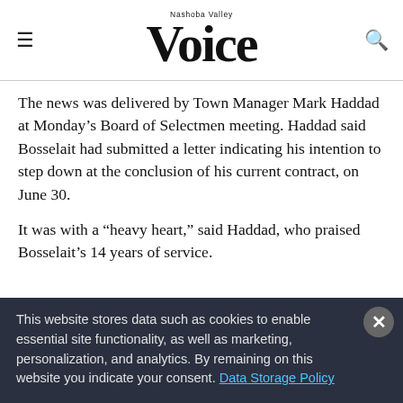Nashoba Valley Voice
The news was delivered by Town Manager Mark Haddad at Monday’s Board of Selectmen meeting. Haddad said Bosselait had submitted a letter indicating his intention to step down at the conclusion of his current contract, on June 30.
It was with a “heavy heart,” said Haddad, who praised Bosselait’s 14 years of service.
[Figure (other): Advertisement banner with golden/orange gradient background and close (X) button]
This website stores data such as cookies to enable essential site functionality, as well as marketing, personalization, and analytics. By remaining on this website you indicate your consent. Data Storage Policy